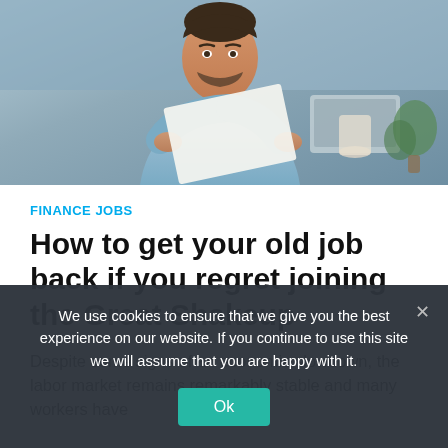[Figure (photo): Man in light blue shirt holding papers and looking at them, with a laptop and plant visible in the background. Office setting.]
FINANCE JOBS
How to get your old job back if you regret joining the Great Shakeup
Despite some signs of an economic slowdown, the labor market remains remarkably stable and many workers have
We use cookies to ensure that we give you the best experience on our website. If you continue to use this site we will assume that you are happy with it.